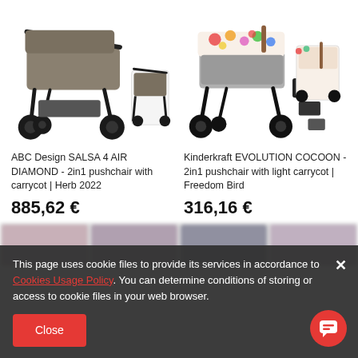[Figure (photo): ABC Design SALSA 4 AIR DIAMOND pushchair with carrycot - product photo showing stroller from side and folded smaller view]
ABC Design SALSA 4 AIR DIAMOND - 2in1 pushchair with carrycot | Herb 2022
885,62 €
[Figure (photo): Kinderkraft EVOLUTION COCOON pushchair with light carrycot, Freedom Bird - product photo showing stroller with colorful hood and accessories]
Kinderkraft EVOLUTION COCOON - 2in1 pushchair with light carrycot | Freedom Bird
316,16 €
[Figure (photo): Bottom row of blurred stroller thumbnail images partially visible]
This page uses cookie files to provide its services in accordance to Cookies Usage Policy. You can determine conditions of storing or access to cookie files in your web browser.
Close